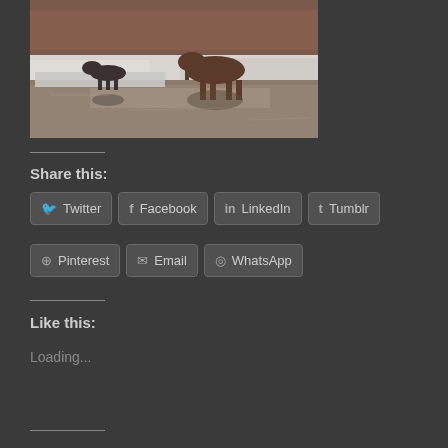[Figure (photo): A wolf/coyote and a moose standing in a partially frozen stream or river, with snow on the banks and dormant reddish-brown vegetation in the background. Winter wildlife scene.]
Share this:
Twitter
Facebook
LinkedIn
Tumblr
Pinterest
Email
WhatsApp
Like this:
Loading...